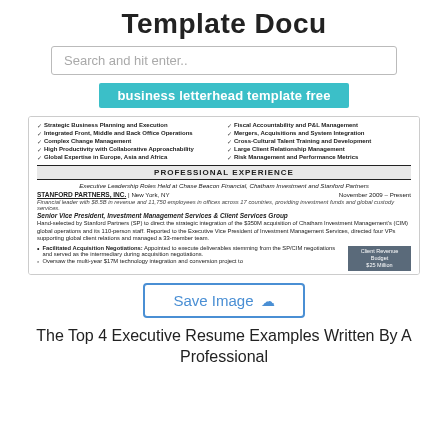Template Docu
Search and hit enter..
business letterhead template free
[Figure (screenshot): Preview of an executive resume document showing professional experience section for Stanford Partners, Inc. with bullet points listing skills and job details.]
Save Image
The Top 4 Executive Resume Examples Written By A Professional